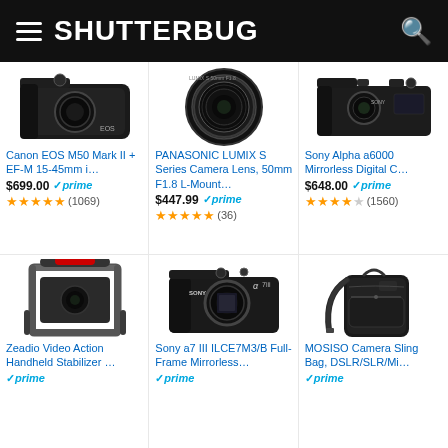SHUTTERBUG
[Figure (photo): Canon EOS M50 Mark II camera body product photo]
Canon EOS M50 Mark II + EF-M 15-45mm i…
$699.00 prime
★★★★★ (1069)
[Figure (photo): PANASONIC LUMIX S Series Camera Lens 50mm F1.8 product photo]
PANASONIC LUMIX S Series Camera Lens, 50mm F1.8 L-Mount…
$447.99 prime
★★★★★ (36)
[Figure (photo): Sony Alpha a6000 mirrorless digital camera product photo]
Sony Alpha a6000 Mirrorless Digital C…
$648.00 prime
★★★★☆ (1560)
[Figure (photo): Zeadio Video Action Handheld Stabilizer camera cage product photo]
Zeadio Video Action Handheld Stabilizer …
prime
[Figure (photo): Sony a7 III ILCE7M3/B Full-Frame Mirrorless camera body product photo]
Sony a7 III ILCE7M3/B Full-Frame Mirrorless…
prime
[Figure (photo): MOSISO Camera Sling Bag DSLR/SLR product photo]
MOSISO Camera Sling Bag, DSLR/SLR/Mi…
prime